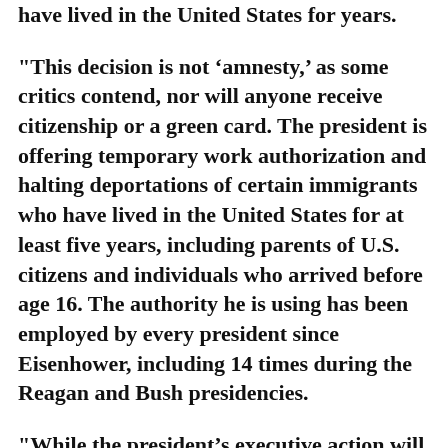have lived in the United States for years.
"This decision is not ‘amnesty,’ as some critics contend, nor will anyone receive citizenship or a green card. The president is offering temporary work authorization and halting deportations of certain immigrants who have lived in the United States for at least five years, including parents of U.S. citizens and individuals who arrived before age 16. The authority he is using has been employed by every president since Eisenhower, including 14 times during the Reagan and Bush presidencies.
"While the president’s executive action will provide much-needed relief for immigrant families, a permanent solution can only be achieved by Congress. The Senate bill passed